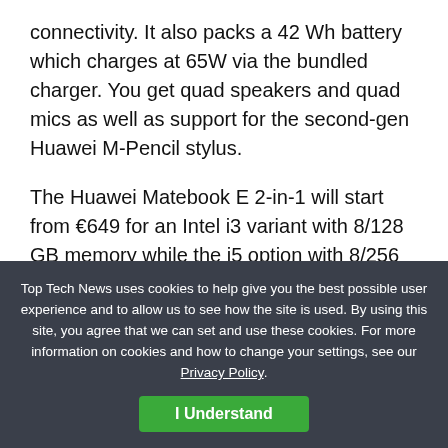connectivity. It also packs a 42 Wh battery which charges at 65W via the bundled charger. You get quad speakers and quad mics as well as support for the second-gen Huawei M-Pencil stylus.
The Huawei Matebook E 2-in-1 will start from €649 for an Intel i3 variant with 8/128 GB memory while the i5 option with 8/256 GB is €999. If users decide to go for the 16/512 GB versions, Huawei will bundle them with a Smart Magnetic Keyboard for €1,199 (Intel i5) or €1,399 (Intel i7).
Top Tech News uses cookies to help give you the best possible user experience and to allow us to see how the site is used. By using this site, you agree that we can set and use these cookies. For more information on cookies and how to change your settings, see our Privacy Policy.
I Understand